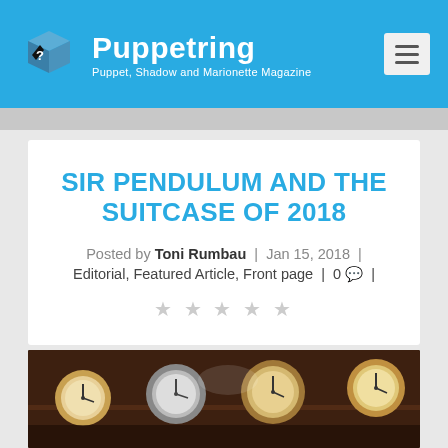Puppetring — Puppet, Shadow and Marionette Magazine
SIR PENDULUM AND THE SUITCASE OF 2018
Posted by Toni Rumbau | Jan 15, 2018 | Editorial, Featured Article, Front page | 0 💬 |
[Figure (photo): A collection of old clocks with round faces arranged on shelves, photographed in dim warm lighting, partial view cropped at bottom of page.]